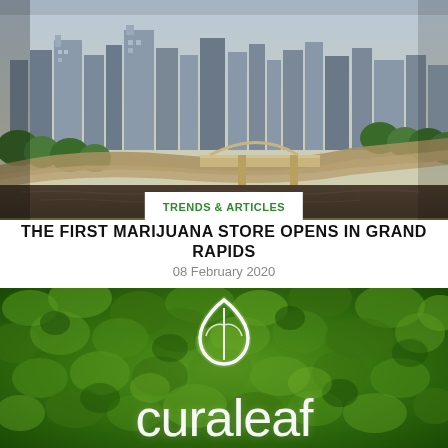[Figure (photo): Aerial view of Grand Rapids city skyline with river, bridge, and highway interchange surrounded by green trees]
TRENDS & ARTICLES
THE FIRST MARIJUANA STORE OPENS IN GRAND RAPIDS
08 February 2020
[Figure (photo): Curaleaf logo in white neon/backlit lettering against a green living moss wall background]